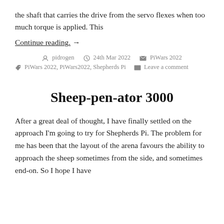the shaft that carries the drive from the servo flexes when too much torque is applied.  This
Continue reading. →
pidrogen  24th Mar 2022  PiWars 2022  PiWars 2022, PiWars2022, Shepherds Pi  Leave a comment
Sheep-pen-ator 3000
After a great deal of thought, I have finally settled on the approach I'm going to try for Shepherds Pi. The problem for me has been that the layout of the arena favours the ability to approach the sheep sometimes from the side, and sometimes end-on. So I hope I have